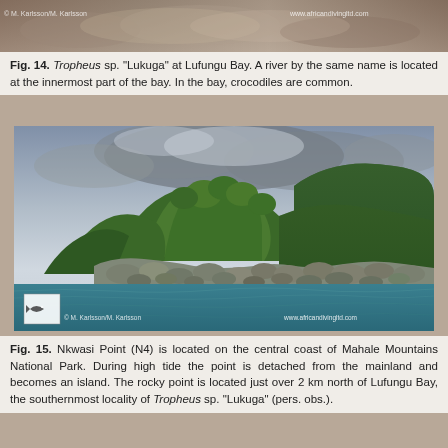[Figure (photo): Top strip photo of Tropheus sp. fish underwater, semi-transparent over rocky background, with watermark 'www.africandivingltd.com' and copyright '© M. Karlsson/M. Karlsson']
Fig. 14. Tropheus sp. "Lukuga" at Lufungu Bay. A river by the same name is located at the innermost part of the bay. In the bay, crocodiles are common.
[Figure (photo): Photograph of Nkwasi Point (N4), a rocky forested peninsula on the central coast of Mahale Mountains National Park, with turquoise lake water in the foreground, stormy sky, and dense green forest on rocky hillside. Logo of a fish icon in lower-left corner. Watermark 'www.africandivingltd.com' and copyright '© M. Karlsson/M. Karlsson' at bottom.]
Fig. 15. Nkwasi Point (N4) is located on the central coast of Mahale Mountains National Park. During high tide the point is detached from the mainland and becomes an island. The rocky point is located just over 2 km north of Lufungu Bay, the southernmost locality of Tropheus sp. "Lukuga" (pers. obs.).